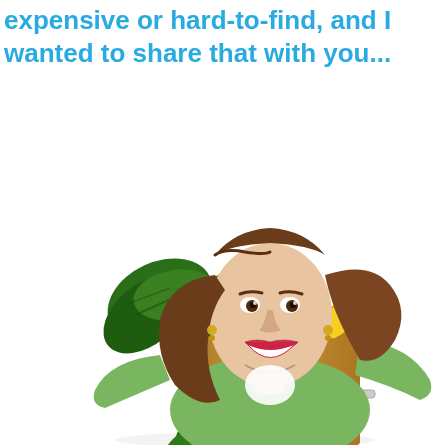expensive or hard-to-find, and I wanted to share that with you...
[Figure (photo): A happy young woman with long brown hair laughing and leaning forward, wearing a green cardigan, holding a large brown paper grocery bag overflowing with fresh vegetables (kale, spinach), fruits (apple, banana), and other produce. She appears to be pushing a shopping cart. The background is white.]